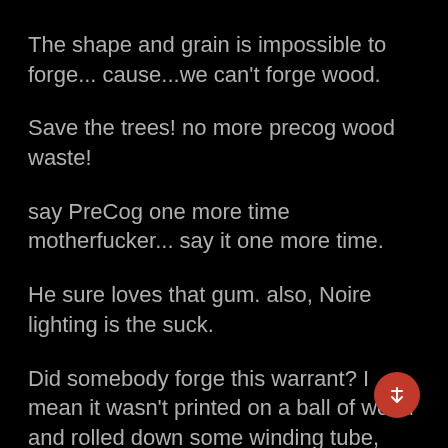The shape and grain is impossible to forge... cause...we can't forge wood.
Save the trees! no more precog wood waste!
say PreCog one more time motherfucker... say it one more time.
He sure loves that gum. also, Noire lighting is the suck.
Did somebody forge this warrant? I mean it wasn't printed on a ball of wood and rolled down some winding tube, how do I know it